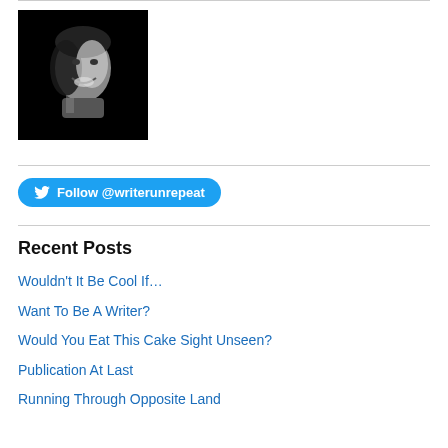[Figure (photo): Black and white portrait photo of a smiling man]
Follow @writerunrepeat
Recent Posts
Wouldn't It Be Cool If…
Want To Be A Writer?
Would You Eat This Cake Sight Unseen?
Publication At Last
Running Through Opposite Land